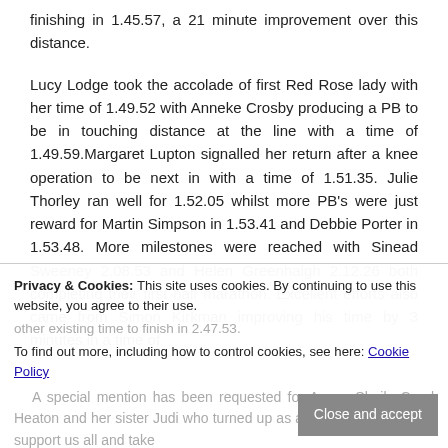finishing in 1.45.57, a 21 minute improvement over this distance.
Lucy Lodge took the accolade of first Red Rose lady with her time of 1.49.52 with Anneke Crosby producing a PB to be in touching distance at the line with a time of 1.49.59.Margaret Lupton signalled her return after a knee operation to be next in with a time of 1.51.35. Julie Thorley ran well for 1.52.05 whilst more PB's were just reward for Martin Simpson in 1.53.41 and Debbie Porter in 1.53.48. More milestones were reached with Sinead Sweeney 2.08.53 and Helen Greenhalgh 2.12.26 both completing their first half marathon. Excellent efforts also came from Simon Kirkman improving his time by 3 minutes in a time of
other existing time to finish in 2.47.53.
A special mention has been requested for Anees Shaik, Carol Heaton and her sister Judi who turned up as a complete surprise to support us all and take
Privacy & Cookies: This site uses cookies. By continuing to use this website, you agree to their use.
To find out more, including how to control cookies, see here: Cookie Policy